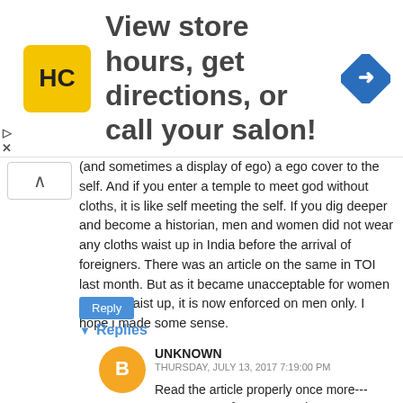[Figure (infographic): Advertisement banner: HC logo on yellow background, text 'View store hours, get directions, or call your salon!', blue diamond direction icon on right, close arrows on left]
(and sometimes a display of ego) a ego cover to the self. And if you enter a temple to meet god without cloths, it is like self meeting the self. If you dig deeper and become a historian, men and women did not wear any cloths waist up in India before the arrival of foreigners. There was an article on the same in TOI last month. But as it became unacceptable for women to bare waist up, it is now enforced on men only. I hope i made some sense.
Reply
Replies
UNKNOWN
THURSDAY, JULY 13, 2017 7:19:00 PM
Read the article properly once more--- EXtra money for easy way is not ego coming in cars is not ego fuck off